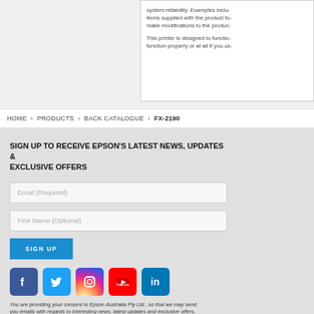system reliability. Examples inclu- items supplied with the product fo- make modifications to the produc-
This printer is designed to functio- function properly or at all if you us-
HOME › PRODUCTS › BACK CATALOGUE › FX-2190
SIGN UP TO RECEIVE EPSON'S LATEST NEWS, UPDATES & EXCLUSIVE OFFERS
Email (Required)
First Name (Optional)
SIGN UP
[Figure (other): Social media icons: Facebook, Twitter, Instagram, YouTube, LinkedIn]
You are providing your consent to Epson Australia Pty Ltd., so that we may send you emails with regards to interesting news, latest updates and exclusive offers. You may withdraw your consent or view our privacy policy at any time.